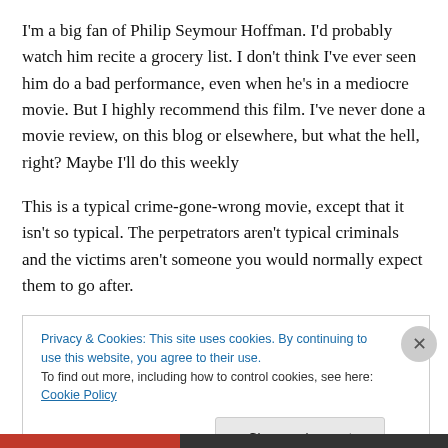I'm a big fan of Philip Seymour Hoffman. I'd probably watch him recite a grocery list. I don't think I've ever seen him do a bad performance, even when he's in a mediocre movie. But I highly recommend this film. I've never done a movie review, on this blog or elsewhere, but what the hell, right? Maybe I'll do this weekly
This is a typical crime-gone-wrong movie, except that it isn't so typical. The perpetrators aren't typical criminals and the victims aren't someone you would normally expect them to go after.
Privacy & Cookies: This site uses cookies. By continuing to use this website, you agree to their use. To find out more, including how to control cookies, see here: Cookie Policy